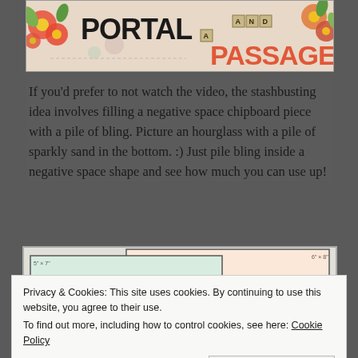[Figure (photo): Craft/scrapbooking banner image showing floral decorations and text reading 'PORTAL AND PASSAGE' with tile letters spelling AND]
If you'd prefer to not watch the video, the stashbusting idea involves filling a negative space chipboard piece with a pile of bling. Picture an hourglass with a pile of sparkly sand in the bottom. :) Just pile bling inside a negative space shape and see how much you can use up!
[Figure (photo): Template cards showing dimensions 5" x 7" and 6" x 8" with copyright 2022 Vexstringel]
Privacy & Cookies: This site uses cookies. By continuing to use this website, you agree to their use.
To find out more, including how to control cookies, see here: Cookie Policy
Close and accept